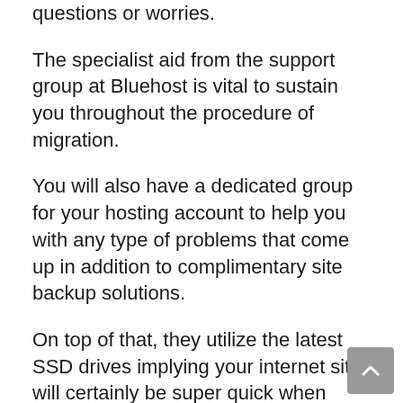questions or worries.
The specialist aid from the support group at Bluehost is vital to sustain you throughout the procedure of migration.
You will also have a dedicated group for your hosting account to help you with any type of problems that come up in addition to complimentary site backup solutions.
On top of that, they utilize the latest SSD drives implying your internet site will certainly be super quick when browsing it from different areas all over the world.
Bluehost compares to the rivals. SiteGround is using a new kind of system called NGINX.